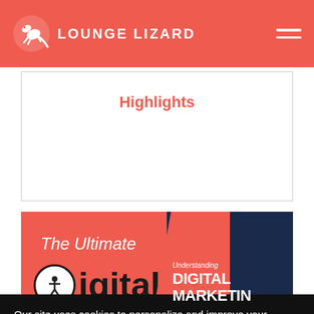LOUNGE LIZARD
Highlights
[Figure (screenshot): Banner showing 'The Ultimate Digital' text with a book titled 'Understanding DIGITAL MARKETING' on an orange/coral background]
Our site uses cookies to personalize and improve your experience and for analytics, advertising, and metrics on our site. By closing this message box or continuing to use our site, you agree to our use of cookies. To learn more, please see our Privacy Policy and Cookie Policy. Edit Cookie settings
ACCEPT